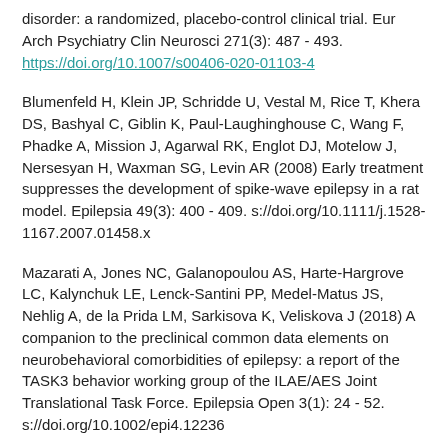disorder: a randomized, placebo-control clinical trial. Eur Arch Psychiatry Clin Neurosci 271(3): 487 - 493. https://doi.org/10.1007/s00406-020-01103-4
Blumenfeld H, Klein JP, Schridde U, Vestal M, Rice T, Khera DS, Bashyal C, Giblin K, Paul-Laughinghouse C, Wang F, Phadke A, Mission J, Agarwal RK, Englot DJ, Motelow J, Nersesyan H, Waxman SG, Levin AR (2008) Early treatment suppresses the development of spike-wave epilepsy in a rat model. Epilepsia 49(3): 400 - 409. s://doi.org/10.1111/j.1528-1167.2007.01458.x
Mazarati A, Jones NC, Galanopoulou AS, Harte-Hargrove LC, Kalynchuk LE, Lenck-Santini PP, Medel-Matus JS, Nehlig A, de la Prida LM, Sarkisova K, Veliskova J (2018) A companion to the preclinical common data elements on neurobehavioral comorbidities of epilepsy: a report of the TASK3 behavior working group of the ILAE/AES Joint Translational Task Force. Epilepsia Open 3(1): 24 - 52. s://doi.org/10.1002/epi4.12236